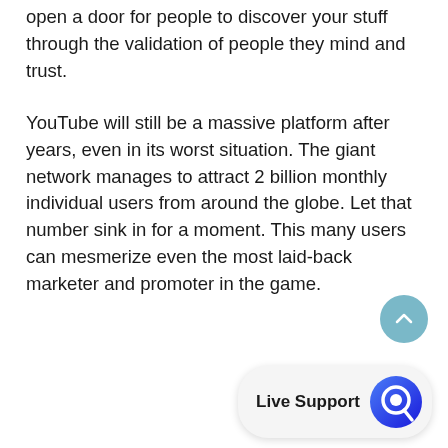open a door for people to discover your stuff through the validation of people they mind and trust.
YouTube will still be a massive platform after years, even in its worst situation. The giant network manages to attract 2 billion monthly individual users from around the globe. Let that number sink in for a moment. This many users can mesmerize even the most laid-back marketer and promoter in the game.
[Figure (other): Scroll-to-top button: a circular teal/blue button with an upward chevron arrow]
[Figure (other): Live Support chat widget: a pill-shaped button with 'Live Support' text and a blue circular chat icon]